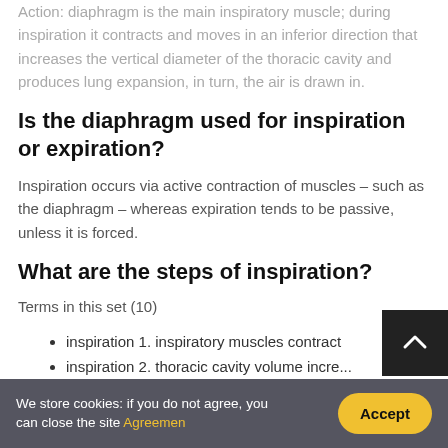Action: diaphragm is the main inspiratory muscle; during inspiration it contracts and moves in an inferior direction that increases the vertical diameter of the thoracic cavity and produces lung expansion, in turn, the air is drawn in.
Is the diaphragm used for inspiration or expiration?
Inspiration occurs via active contraction of muscles – such as the diaphragm – whereas expiration tends to be passive, unless it is forced.
What are the steps of inspiration?
Terms in this set (10)
inspiration 1. inspiratory muscles contract
inspiration 2. thoracic cavity volume incre...
inspiration 3. ...
We store cookies: if you do not agree, you can close the site Agreement